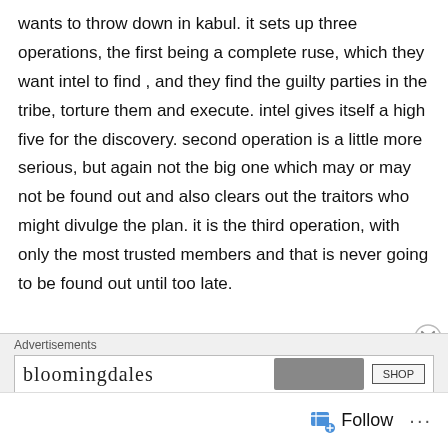wants to throw down in kabul. it sets up three operations, the first being a complete ruse, which they want intel to find , and they find the guilty parties in the tribe, torture them and execute. intel gives itself a high five for the discovery. second operation is a little more serious, but again not the big one which may or may not be found out and also clears out the traitors who might divulge the plan. it is the third operation, with only the most trusted members and that is never going to be found out until too late.
Advertisements
[Figure (other): Bloomingdale's advertisement banner with logo, fashion image, and SHOP button]
Follow